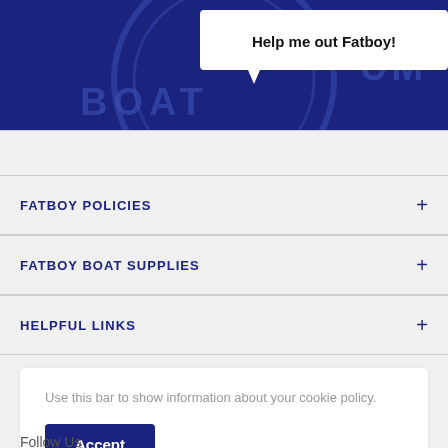[Figure (photo): Dark blue circular logo/badge with text 'BOAT' visible, partially cropped, with a white speech bubble overlay saying 'Help me out Fatboy!']
FATBOY POLICIES
FATBOY BOAT SUPPLIES
HELPFUL LINKS
Use this bar to show information about your cookie policy.
Accept
Follow Us